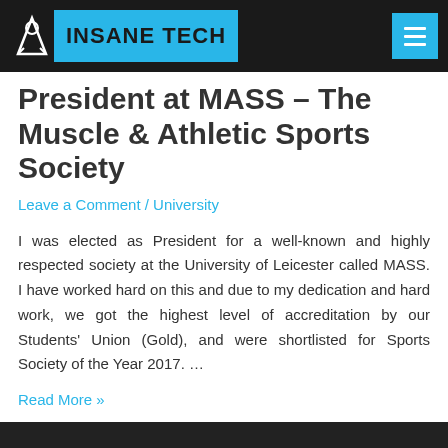INSANE TECH
President at MASS – The Muscle & Athletic Sports Society
Leave a Comment / University
I was elected as President for a well-known and highly respected society at the University of Leicester called MASS. I have worked hard on this and due to my dedication and hard work, we got the highest level of accreditation by our Students' Union (Gold), and were shortlisted for Sports Society of the Year 2017. …
Read More »